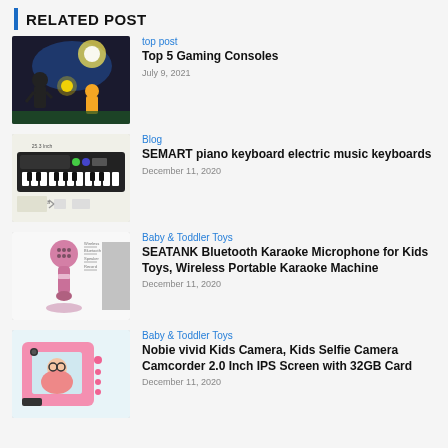RELATED POST
top post | Top 5 Gaming Consoles | July 9, 2021
Blog | SEMART piano keyboard electric music keyboards | December 11, 2020
Baby & Toddler Toys | SEATANK Bluetooth Karaoke Microphone for Kids Toys, Wireless Portable Karaoke Machine | December 11, 2020
Baby & Toddler Toys | Nobie vivid Kids Camera, Kids Selfie Camera Camcorder 2.0 Inch IPS Screen with 32GB Card | December 11, 2020